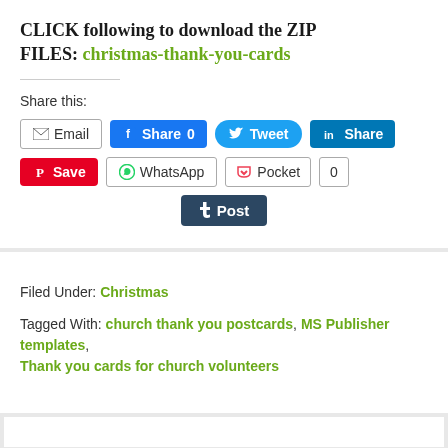CLICK following to download the ZIP FILES: christmas-thank-you-cards
Share this:
[Figure (other): Social sharing buttons: Email, Facebook Share 0, Twitter Tweet, LinkedIn Share, Pinterest Save, WhatsApp, Pocket 0, Tumblr Post]
Filed Under: Christmas
Tagged With: church thank you postcards, MS Publisher templates, Thank you cards for church volunteers